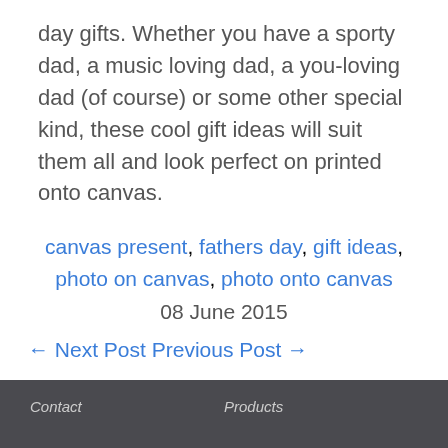day gifts. Whether you have a sporty dad, a music loving dad, a you-loving dad (of course) or some other special kind, these cool gift ideas will suit them all and look perfect on printed onto canvas.
canvas present, fathers day, gift ideas, photo on canvas, photo onto canvas
08 June 2015
← Next Post Previous Post →
Contact    Products